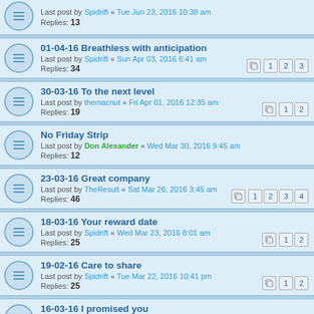Last post by Spidrift « Tue Jun 23, 2016 10:38 am
Replies: 13
01-04-16 Breathless with anticipation
Last post by Spidrift « Sun Apr 03, 2016 6:41 am
Replies: 34
Pages: 1 2 3
30-03-16 To the next level
Last post by themacnut « Fri Apr 01, 2016 12:35 am
Replies: 19
Pages: 1 2
No Friday Strip
Last post by Don Alexander « Wed Mar 30, 2016 9:45 am
Replies: 12
23-03-16 Great company
Last post by TheResult « Sat Mar 26, 2016 3:45 am
Replies: 46
Pages: 1 2 3 4
18-03-16 Your reward date
Last post by Spidrift « Wed Mar 23, 2016 8:01 am
Replies: 25
Pages: 1 2
19-02-16 Care to share
Last post by Spidrift « Tue Mar 22, 2016 10:41 pm
Replies: 25
Pages: 1 2
16-03-16 I promised you
Last post by brasca « Fri Mar 18, 2016 3:19 am
Replies: 12
11-03-16 For a good cause
Last post by Don Alexander « Tue Mar 15, 2016 6:22 pm
Replies: 30